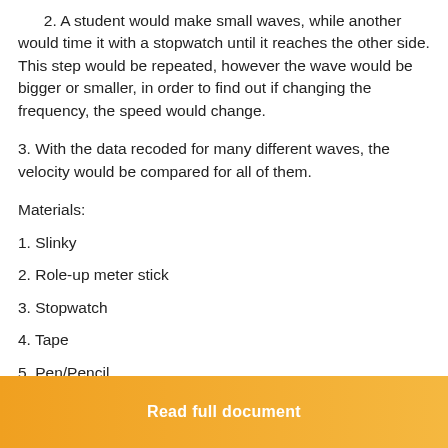2. A student would make small waves, while another would time it with a stopwatch until it reaches the other side. This step would be repeated, however the wave would be bigger or smaller, in order to find out if changing the frequency, the speed would change.
3. With the data recoded for many different waves, the velocity would be compared for all of them.
Materials:
1. Slinky
2. Role-up meter stick
3. Stopwatch
4. Tape
5. Pen/Pencil
Read full document